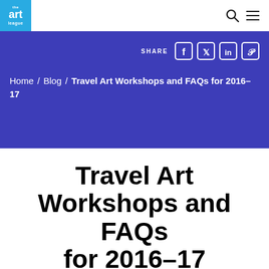[Figure (logo): Art League logo — white 'art' text on cyan/blue square with 'league' below]
Art League website navigation bar with search and menu icons
SHARE [Facebook] [Twitter] [LinkedIn] [Pinterest]
Home / Blog / Travel Art Workshops and FAQs for 2016–17
Travel Art Workshops and FAQs for 2016–17
August 4, 2016   News   Travel Workshops